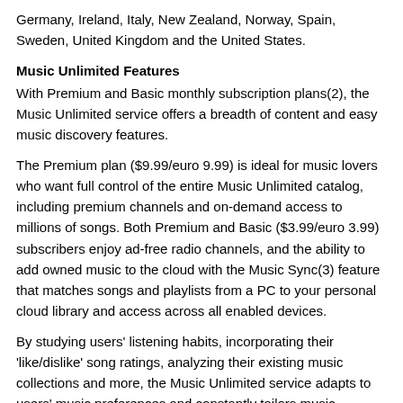Germany, Ireland, Italy, New Zealand, Norway, Spain, Sweden, United Kingdom and the United States.
Music Unlimited Features
With Premium and Basic monthly subscription plans(2), the Music Unlimited service offers a breadth of content and easy music discovery features.
The Premium plan ($9.99/euro 9.99) is ideal for music lovers who want full control of the entire Music Unlimited catalog, including premium channels and on-demand access to millions of songs. Both Premium and Basic ($3.99/euro 3.99) subscribers enjoy ad-free radio channels, and the ability to add owned music to the cloud with the Music Sync(3) feature that matches songs and playlists from a PC to your personal cloud library and access across all enabled devices.
By studying users' listening habits, incorporating their 'like/dislike' song ratings, analyzing their existing music collections and more, the Music Unlimited service adapts to users' music preferences and constantly tailors music channels to offer the most compatible and enjoyable list of songs.